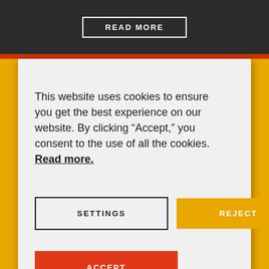READ MORE
This website uses cookies to ensure you get the best experience on our website. By clicking “Accept,” you consent to the use of all the cookies. Read more.
SETTINGS
REJECT
ACCEPT